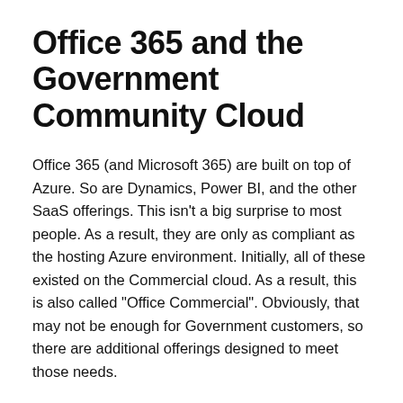Office 365 and the Government Community Cloud
Office 365 (and Microsoft 365) are built on top of Azure. So are Dynamics, Power BI, and the other SaaS offerings. This isn't a big surprise to most people. As a result, they are only as compliant as the hosting Azure environment. Initially, all of these existed on the Commercial cloud. As a result, this is also called "Office Commercial". Obviously, that may not be enough for Government customers, so there are additional offerings designed to meet those needs.
Government Community Cloud (GCC), a special copy of the Office 365 commercial environment. GCC (sometimes called "GCC Moderate") is not actually a separate cloud offering. It is a dedicated data and services enclave within